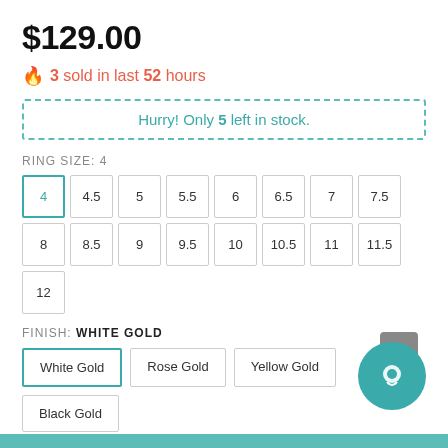$129.00
3 sold in last 52 hours
Hurry! Only 5 left in stock.
RING SIZE: 4
Size options: 4, 4.5, 5, 5.5, 6, 6.5, 7, 7.5, 8, 8.5, 9, 9.5, 10, 10.5, 11, 11.5, 12
FINISH: WHITE GOLD
Finish options: White Gold, Rose Gold, Yellow Gold, Black Gold
SIZE GUIDE   ASK ABOUT THIS PRODUCT
Quantity: 1